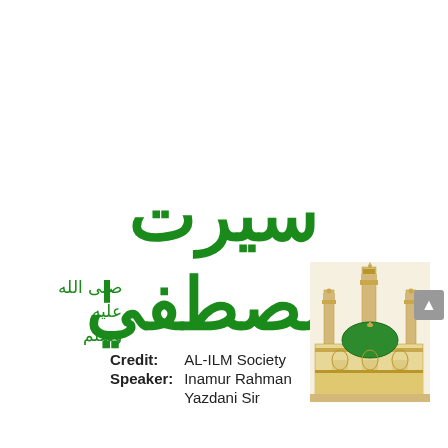[Figure (illustration): Large green Arabic calligraphy text reading 'Seerat' on first line and 'Mustafa' on second line, with smaller Arabic salawat text to the left of 'Mustafa'. An illustration of Masjid-e-Nabawi (the Prophet's Mosque in Medina) is shown on the right side.]
Credit:   AL-ILM Society
Speaker:  Inamur Rahman
          Yazdani Sir